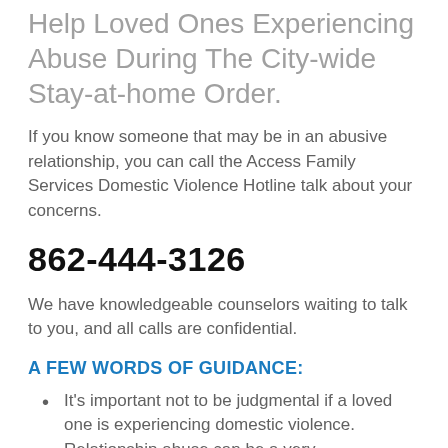Help Loved Ones Experiencing Abuse During The City-wide Stay-at-home Order.
If you know someone that may be in an abusive relationship, you can call the Access Family Services Domestic Violence Hotline talk about your concerns.
862-444-3126
We have knowledgeable counselors waiting to talk to you, and all calls are confidential.
A FEW WORDS OF GUIDANCE:
It's important not to be judgmental if a loved one is experiencing domestic violence. Relationship abuse can be a very